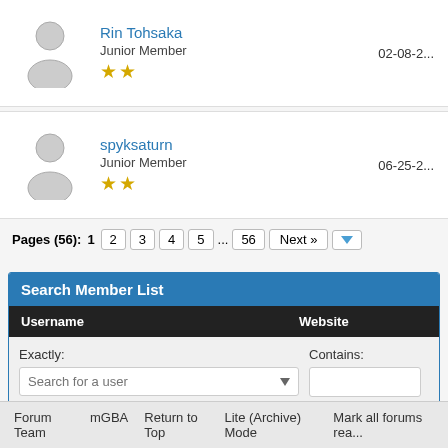| Avatar | Username | Date |
| --- | --- | --- |
| [avatar] | Rin Tohsaka
Junior Member
★★ | 02-08-2... |
| [avatar] | spyksaturn
Junior Member
★★ | 06-25-2... |
Pages (56): 1 2 3 4 5 ... 56 Next »
Search Member List
| Username | Website |
| --- | --- |
| Exactly: [Search for a user] | Contains: [] |
Forum Team   mGBA   Return to Top   Lite (Archive) Mode   Mark all forums rea...